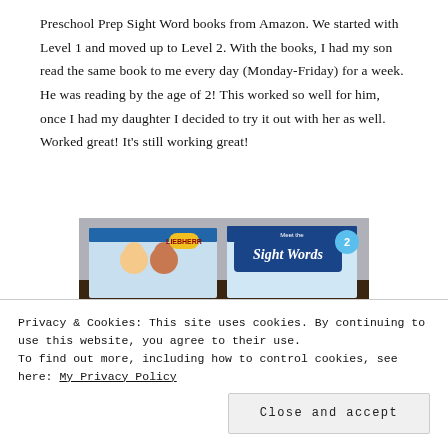Preschool Prep Sight Word books from Amazon. We started with Level 1 and moved up to Level 2. With the books, I had my son read the same book to me every day (Monday-Friday) for a week. He was reading by the age of 2! This worked so well for him, once I had my daughter I decided to try it out with her as well. Worked great! It's still working great!
[Figure (photo): Photo of two Preschool Prep Sight Words book boxes on a dark wooden surface. The right box shows 'Sight Words' level 2 branding with a blue banner.]
Privacy & Cookies: This site uses cookies. By continuing to use this website, you agree to their use.
To find out more, including how to control cookies, see here: My Privacy Policy
Close and accept